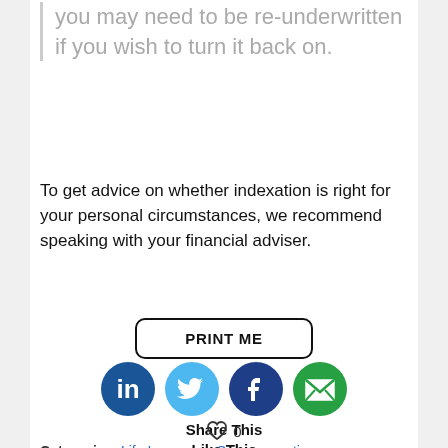you may need to be re-underwritten if you wish to turn it back on.
To get advice on whether indexation is right for your personal circumstances, we recommend speaking with your financial adviser.
PRINT ME
[Figure (infographic): Social share icons row: LinkedIn (dark blue circle with 'in'), Twitter (light blue circle with bird), Facebook (dark blue circle with 'f'), Email (green circle with envelope). Below: 'Share This' label.]
0
Like This
Categories: Life Insurance, Superannuation